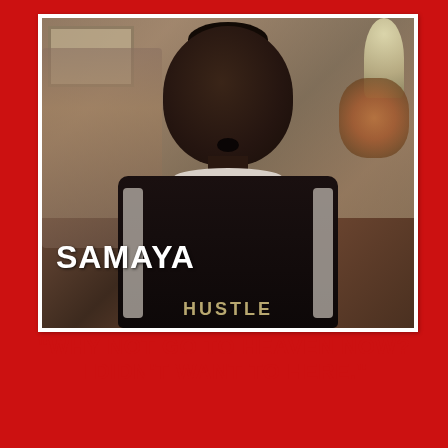[Figure (photo): A young person named Samaya, speaking or being interviewed, wearing a dark shirt with white stripes and partial text 'HUSTLE'. The name 'SAMAYA' is overlaid in white bold text at the bottom-left of the photo. Background shows a home interior with a chair, wall art, lamp, and flowers.]
"WHY NOT GO TO HEAVEN NOW? I DIDN'T WANT TO HERE."